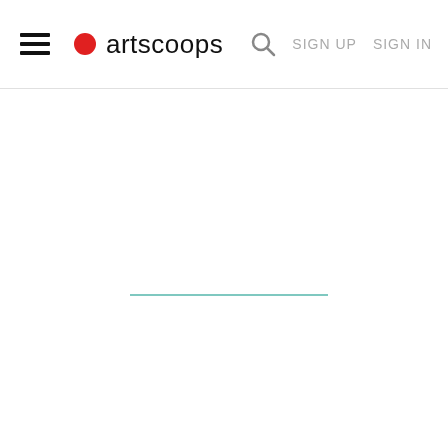artscoops — SIGN UP  SIGN IN
[Figure (screenshot): White content area with a teal/aqua horizontal line in the center]